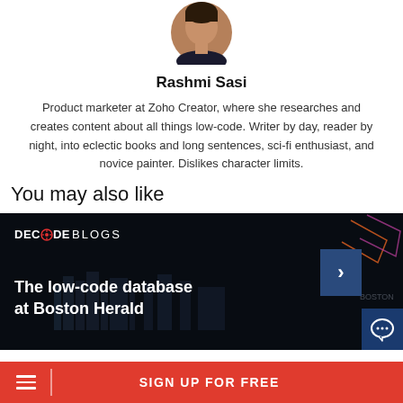[Figure (photo): Circular profile photo of Rashmi Sasi, cropped at top]
Rashmi Sasi
Product marketer at Zoho Creator, where she researches and creates content about all things low-code. Writer by day, reader by night, into eclectic books and long sentences, sci-fi enthusiast, and novice painter. Dislikes character limits.
You may also like
[Figure (screenshot): Decode Blogs banner card showing 'The low-code database at Boston Herald' with dark background, city skyline, navigation arrow, and chat bubble icon]
SIGN UP FOR FREE